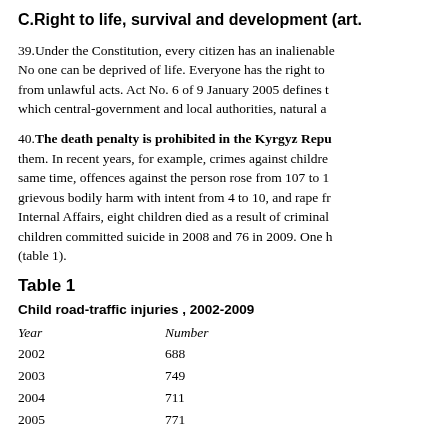C.Right to life, survival and development (art.
39.Under the Constitution, every citizen has an inalienable right to life. No one can be deprived of life. Everyone has the right to protection from unlawful acts. Act No. 6 of 9 January 2005 defines the duties of which central-government and local authorities, natural a...
40.The death penalty is prohibited in the Kyrgyz Republic. them. In recent years, for example, crimes against children. same time, offences against the person rose from 107 to 1... grievous bodily harm with intent from 4 to 10, and rape fr... Internal Affairs, eight children died as a result of criminal... children committed suicide in 2008 and 76 in 2009. One h... (table 1).
Table 1
Child road-traffic injuries , 2002-2009
| Year | Number |
| --- | --- |
| 2002 | 688 |
| 2003 | 749 |
| 2004 | 711 |
| 2005 | 771 |